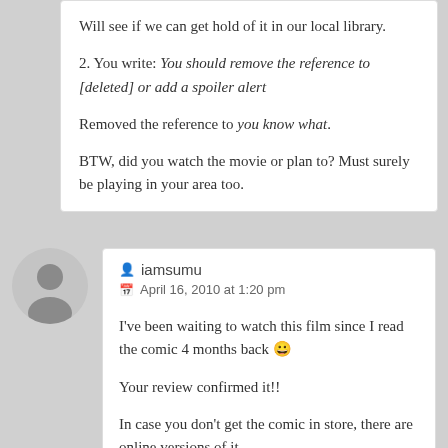Will see if we can get hold of it in our local library.

2. You write: You should remove the reference to [deleted] or add a spoiler alert

Removed the reference to you know what.

BTW, did you watch the movie or plan to? Must surely be playing in your area too.
iamsumu
April 16, 2010 at 1:20 pm
I've been waiting to watch this film since I read the comic 4 months back 😀

Your review confirmed it!!

In case you don't get the comic in store, there are online versions of it ……

Surprising that Mark Strong is there in every big movie these days. Sherlock Holmes, Kick Ass,